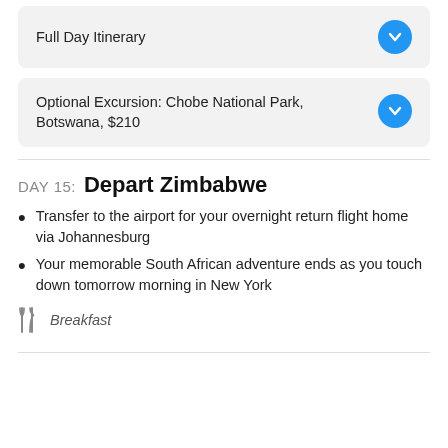Full Day Itinerary
Optional Excursion: Chobe National Park, Botswana, $210
DAY 15: Depart Zimbabwe
Transfer to the airport for your overnight return flight home via Johannesburg
Your memorable South African adventure ends as you touch down tomorrow morning in New York
Breakfast